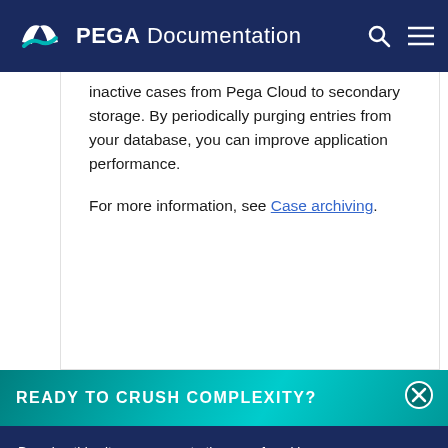PEGA Documentation
inactive cases from Pega Cloud to secondary storage. By periodically purging entries from your database, you can improve application performance.
For more information, see Case archiving.
READY TO CRUSH COMPLEXITY?
By using this site, you agree to the use of cookies. Read our Privacy Policy
Accept and continue   About cookies